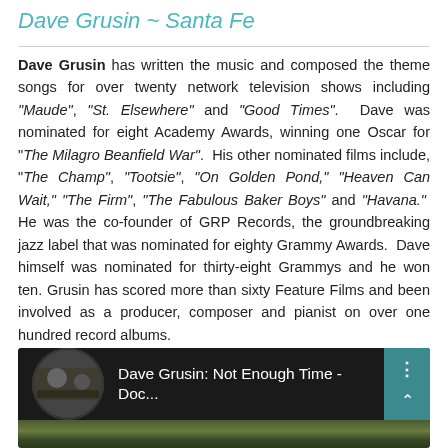Dave Grusin ~ Santa Fe
Dave Grusin has written the music and composed the theme songs for over twenty network television shows including "Maude", "St. Elsewhere" and "Good Times". Dave was nominated for eight Academy Awards, winning one Oscar for "The Milagro Beanfield War". His other nominated films include, "The Champ", "Tootsie", "On Golden Pond," "Heaven Can Wait," "The Firm", "The Fabulous Baker Boys" and "Havana." He was the co-founder of GRP Records, the groundbreaking jazz label that was nominated for eighty Grammy Awards. Dave himself was nominated for thirty-eight Grammys and he won ten. Grusin has scored more than sixty Feature Films and been involved as a producer, composer and pianist on over one hundred record albums.
[Figure (screenshot): Video thumbnail showing Dave Grusin: Not Enough Time - Doc... with a circular thumbnail image of people/venue on a dark background, with a teal menu button on the right showing three dots and an up arrow.]